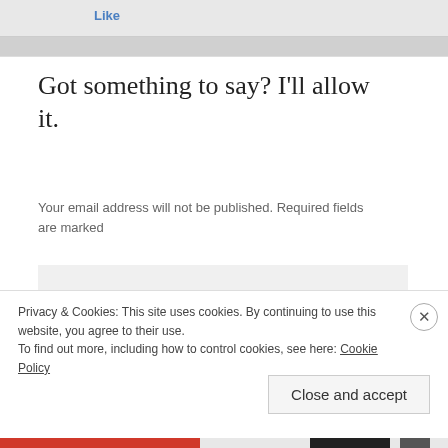Like
Got something to say? I'll allow it.
Your email address will not be published. Required fields are marked
[Figure (other): Empty comment text input area with light gray background]
Privacy & Cookies: This site uses cookies. By continuing to use this website, you agree to their use.
To find out more, including how to control cookies, see here: Cookie Policy
Close and accept